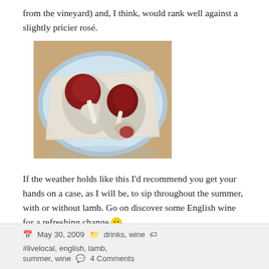from the vineyard) and, I think, would rank well against a slightly pricier rosé.
[Figure (photo): Two raw lamb chops on white butcher paper on a light blue plate, placed on a wooden surface.]
If the weather holds like this I'd recommend you get your hands on a case, as I will be, to sip throughout the summer, with or without lamb. Go on discover some English wine for a refreshing change 🙂
May 30, 2009   drinks, wine   #livelocal, english, lamb, summer, wine   4 Comments